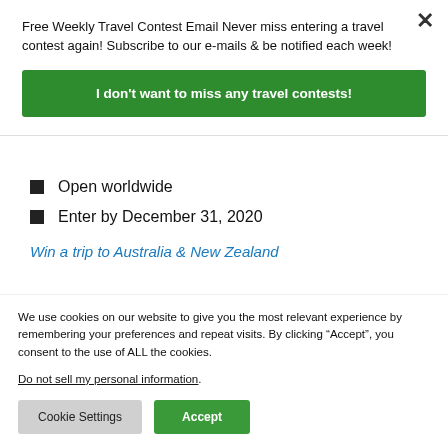Free Weekly Travel Contest Email Never miss entering a travel contest again! Subscribe to our e-mails & be notified each week!
I don't want to miss any travel contests!
Open worldwide
Enter by December 31, 2020
Win a trip to Australia & New Zealand
We use cookies on our website to give you the most relevant experience by remembering your preferences and repeat visits. By clicking “Accept”, you consent to the use of ALL the cookies.
Do not sell my personal information.
Cookie Settings
Accept